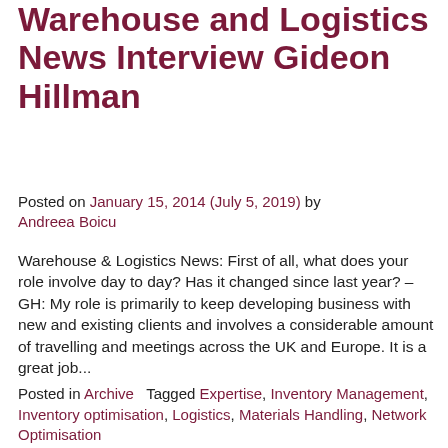Warehouse and Logistics News Interview Gideon Hillman
Posted on January 15, 2014 (July 5, 2019) by Andreea Boicu
Warehouse & Logistics News: First of all, what does your role involve day to day? Has it changed since last year? – GH: My role is primarily to keep developing business with new and existing clients and involves a considerable amount of travelling and meetings across the UK and Europe. It is a great job...
Posted in Archive   Tagged Expertise, Inventory Management, Inventory optimisation, Logistics, Materials Handling, Network Optimisation